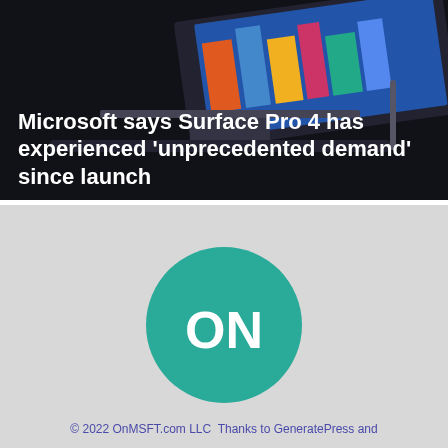[Figure (screenshot): Dark hero image showing a Microsoft Surface Pro 4 tablet device at an angle, with a colorful cityscape displayed on screen. The image has a dark, near-black background.]
Microsoft says Surface Pro 4 has experienced 'unprecedented demand' since launch
[Figure (logo): OnMSFT logo: a teal/green circle with white bold text 'ON' centered inside it, on a light gray background.]
© 2022 OnMSFT.com LLC Thanks to GeneratePress and